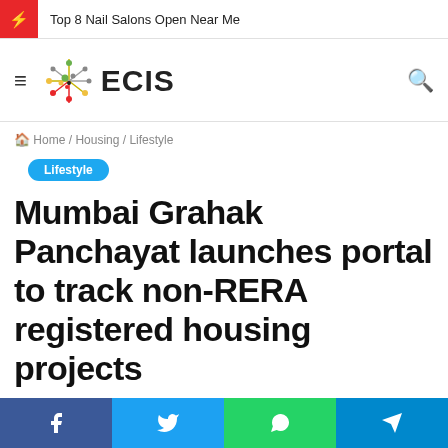Top 8 Nail Salons Open Near Me
[Figure (logo): ECIS website logo with colorful starburst dots graphic and text ECIS]
Home / Housing / Lifestyle
Lifestyle
Mumbai Grahak Panchayat launches portal to track non-RERA registered housing projects